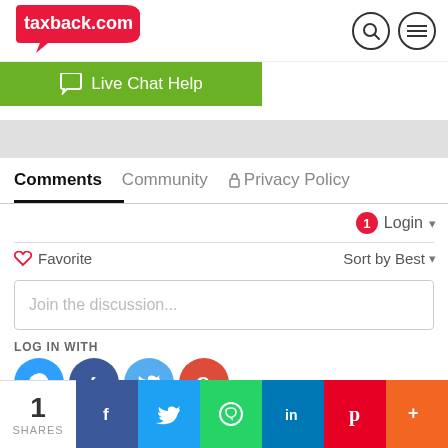[Figure (screenshot): taxback.com website header with logo, search icon, and hamburger menu icon]
[Figure (screenshot): Green Live Chat Help button bar]
Comments   Community   Privacy Policy
1  Login
Favorite   Sort by Best
Join the discussion...
LOG IN WITH
[Figure (screenshot): Social login icons: Disqus, Facebook, Twitter, Google]
[Figure (screenshot): Bottom share bar with count 1 SHARES and social media share buttons: Facebook, Twitter, WhatsApp, LinkedIn, Pinterest, More]